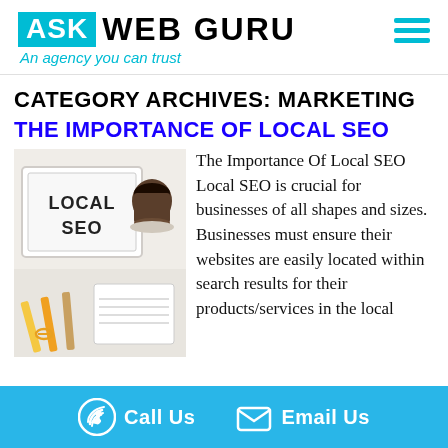[Figure (logo): Ask Web Guru logo with cyan ASK box, bold black WEB GURU text, and italic cyan tagline 'An agency you can trust'. Hamburger menu icon top right.]
CATEGORY ARCHIVES: MARKETING
THE IMPORTANCE OF LOCAL SEO
[Figure (photo): Photo showing a light box sign reading LOCAL SEO, a coffee cup, pencils, and a notepad on a white desk background.]
The Importance Of Local SEO Local SEO is crucial for businesses of all shapes and sizes. Businesses must ensure their websites are easily located within search results for their products/services in the local ...
Call Us   Email Us